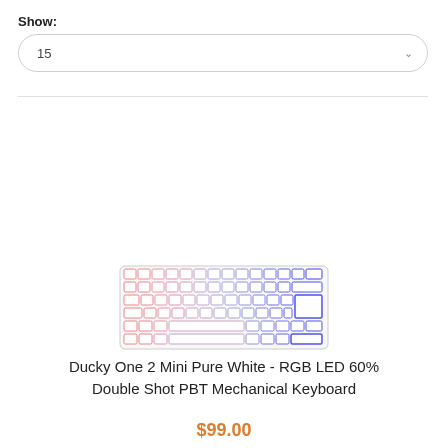Show:
15
[Figure (photo): Ducky One 2 Mini Pure White mechanical keyboard with RGB LED lighting, showing a 60% layout keyboard with white keycaps and colorful backlight gradient from red/pink on the left to blue/purple on the right]
Ducky One 2 Mini Pure White - RGB LED 60% Double Shot PBT Mechanical Keyboard
$99.00